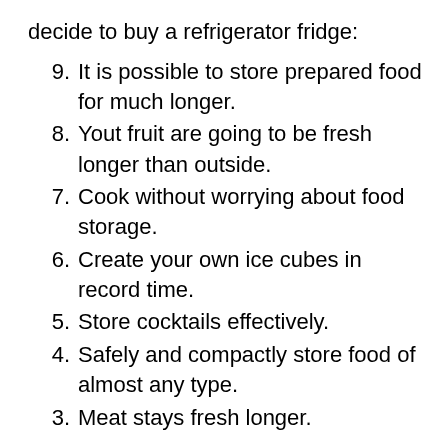decide to buy a refrigerator fridge:
9. It is possible to store prepared food for much longer.
8. Yout fruit are going to be fresh longer than outside.
7. Cook without worrying about food storage.
6. Create your own ice cubes in record time.
5. Store cocktails effectively.
4. Safely and compactly store food of almost any type.
3. Meat stays fresh longer.